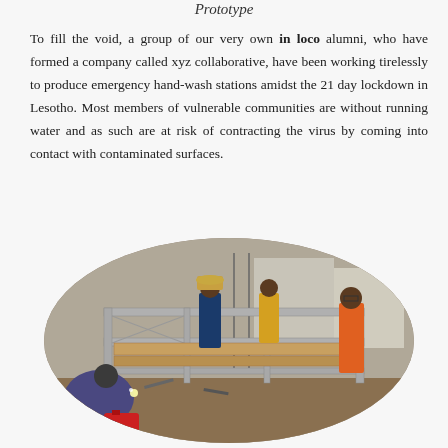Prototype
To fill the void, a group of our very own in loco alumni, who have formed a company called xyz collaborative, have been working tirelessly to produce emergency hand-wash stations amidst the 21 day lockdown in Lesotho. Most members of vulnerable communities are without running water and as such are at risk of contracting the virus by coming into contact with contaminated surfaces.
[Figure (photo): Workers constructing a metal frame structure outdoors, with welding sparks visible. Several people are working around a metal scaffolding/frame on the ground.]